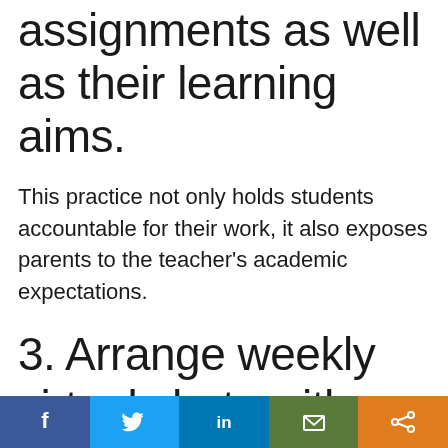assignments as well as their learning aims.
This practice not only holds students accountable for their work, it also exposes parents to the teacher’s academic expectations.
3. Arrange weekly virtual chats with parents.
Not all parents have the same resources
[Figure (infographic): Social media share bar with Facebook, Twitter, LinkedIn, Email, and Share icons]